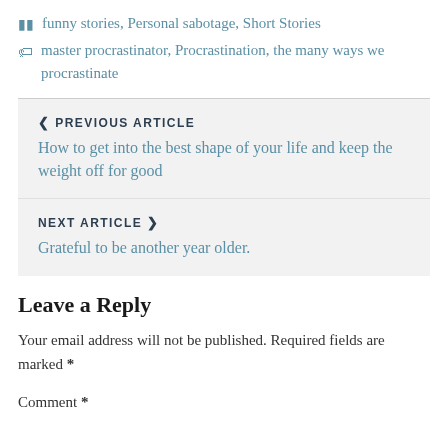funny stories, Personal sabotage, Short Stories
master procrastinator, Procrastination, the many ways we procrastinate
❮ PREVIOUS ARTICLE
How to get into the best shape of your life and keep the weight off for good
NEXT ARTICLE ❯
Grateful to be another year older.
Leave a Reply
Your email address will not be published. Required fields are marked *
Comment *